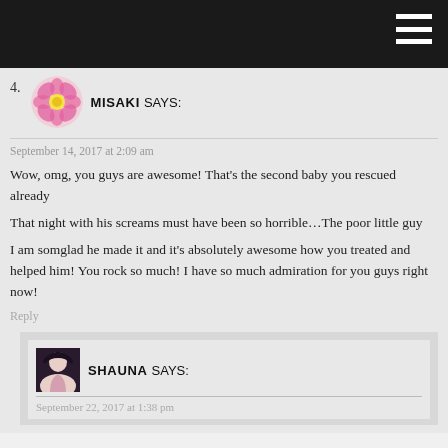4. MISAKI SAYS:
September 14, 2017 at 2:09 am

Wow, omg, you guys are awesome! That's the second baby you rescued already
That night with his screams must have been so horrible…The poor little guy
I am somglad he made it and it's absolutely awesome how you treated and helped him! You rock so much! I have so much admiration for you guys right now!

Reply
SHAUNA SAYS:
September 22, 2017 at 1:38 pm